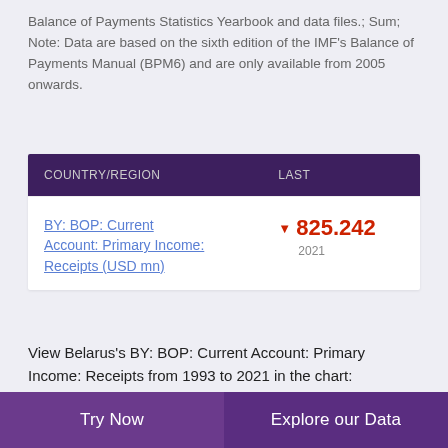Balance of Payments Statistics Yearbook and data files.; Sum; Note: Data are based on the sixth edition of the IMF's Balance of Payments Manual (BPM6) and are only available from 2005 onwards.
| COUNTRY/REGION | LAST |
| --- | --- |
| BY: BOP: Current Account: Primary Income: Receipts (USD mn) | ▼ 825.242
2021 |
View Belarus's BY: BOP: Current Account: Primary Income: Receipts from 1993 to 2021 in the chart:
There is no data available for your selected dates.
[Figure (continuous-plot): Partial bar chart showing data points at approximately 1183.300 and 1189.700, with y-axis labels at 1300 and 1200. Purple bars visible at bottom of viewport.]
Try Now    Explore our Data